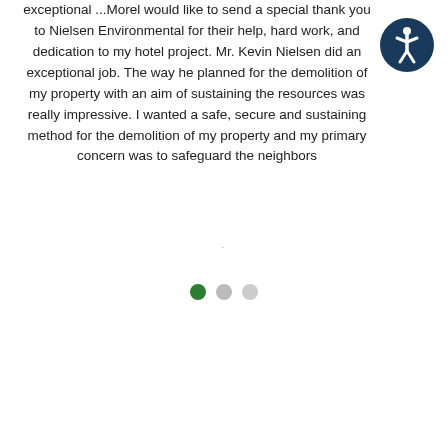exceptional ...Morel would like to send a special thank you to Nielsen Environmental for their help, hard work, and dedication to my hotel project. Mr. Kevin Nielsen did an exceptional job. The way he planned for the demolition of my property with an aim of sustaining the resources was really impressive. I wanted a safe, secure and sustaining method for the demolition of my property and my primary concern was to safeguard the neighbors
[Figure (other): Accessibility icon: a circular dark blue badge with a white stylized human figure (universal accessibility symbol)]
[Figure (other): Carousel navigation dots: one filled green circle (active), one medium gray circle, one light gray circle]